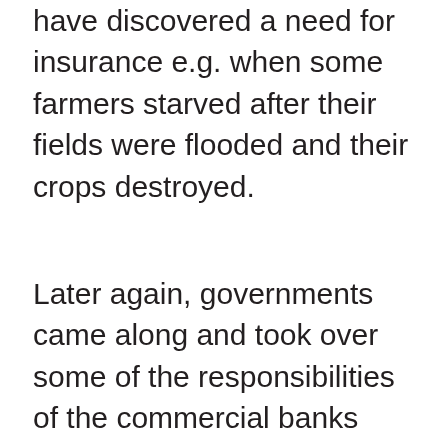have discovered a need for insurance e.g. when some farmers starved after their fields were flooded and their crops destroyed.
Later again, governments came along and took over some of the responsibilities of the commercial banks and the insurance companies, and standardised those activities over a wider area.
After that, government loans (bonds) began to take over from gold as the thing that people believe in that is used to back the commercial banks. That was because the supply of gold is limited and this puts